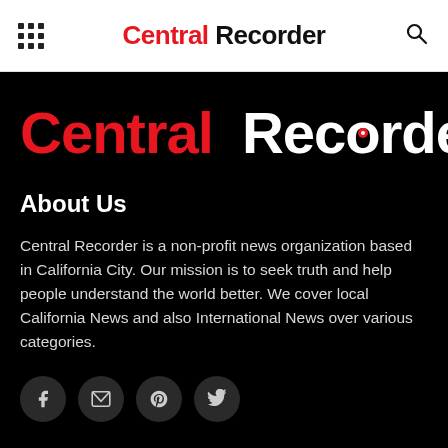Central Recorder — navigation bar with grid icon and search icon
[Figure (logo): Central Recorder logo in large text on black background — 'Central' in red, 'Recorder' in white with a red circle dot on the letter o]
About Us
Central Recorder is a non-profit news organization based in California City. Our mission is to seek truth and help people understand the world better. We cover local California News and also International News over various categories.
[Figure (infographic): Row of four social media icon buttons (Facebook, Email, Pinterest, Twitter) as dark circles on black background]